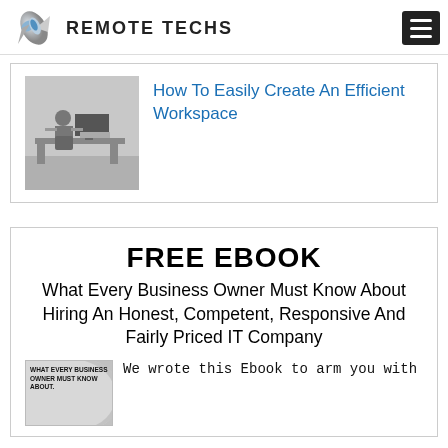REMOTE TECHS
How To Easily Create An Efficient Workspace
[Figure (photo): Black and white photo of a person sitting at a desk with a computer in a workspace]
FREE EBOOK
What Every Business Owner Must Know About Hiring An Honest, Competent, Responsive And Fairly Priced IT Company
[Figure (illustration): Book cover thumbnail for the free ebook]
We wrote this Ebook to arm you with